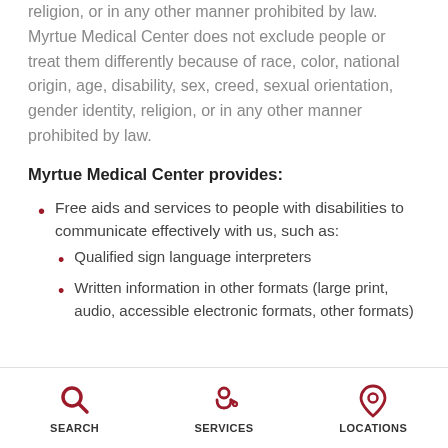religion, or in any other manner prohibited by law. Myrtue Medical Center does not exclude people or treat them differently because of race, color, national origin, age, disability, sex, creed, sexual orientation, gender identity, religion, or in any other manner prohibited by law.
Myrtue Medical Center provides:
Free aids and services to people with disabilities to communicate effectively with us, such as:
Qualified sign language interpreters
Written information in other formats (large print, audio, accessible electronic formats, other formats)
SEARCH | SERVICES | LOCATIONS